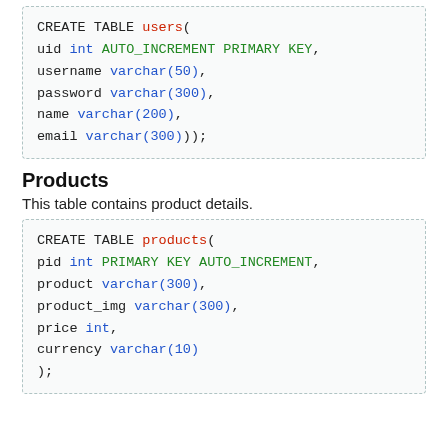CREATE TABLE users(
uid int AUTO_INCREMENT PRIMARY KEY,
username varchar(50),
password varchar(300),
name varchar(200),
email varchar(300));
Products
This table contains product details.
CREATE TABLE products(
pid int PRIMARY KEY AUTO_INCREMENT,
product varchar(300),
product_img varchar(300),
price int,
currency varchar(10)
);